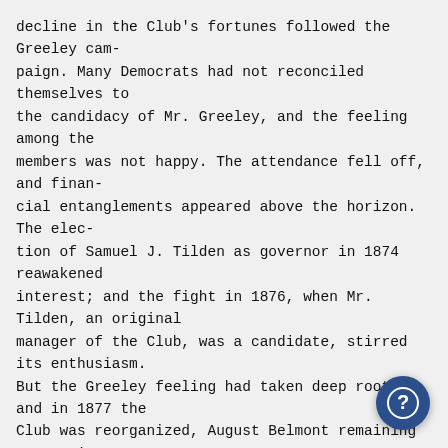decline in the Club's fortunes followed the Greeley cam-
paign. Many Democrats had not reconciled themselves to
the candidacy of Mr. Greeley, and the feeling among the
members was not happy. The attendance fell off, and finan-
cial entanglements appeared above the horizon. The elec-
tion of Samuel J. Tilden as governor in 1874 reawakened
interest; and the fight in 1876, when Mr. Tilden, an original
manager of the Club, was a candidate, stirred its enthusiasm.
But the Greeley feeling had taken deep root, and in 1877 the
Club was reorganized, August Belmont remaining as presi-
dent. From that time, however, the Club has continued to
grow, and it is now booming. It is true that t
is a Mug-